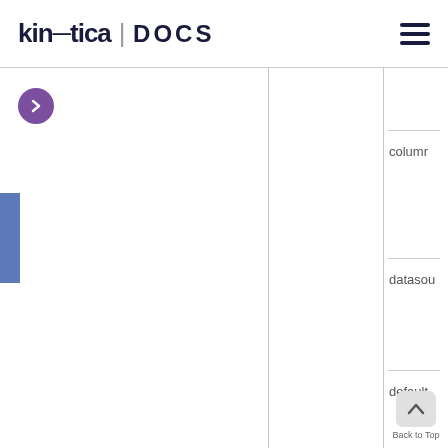kinetica | DOCS
[Figure (screenshot): Kinetica Docs website screenshot showing navigation header with logo, hamburger menu, sidebar toggle button (purple circle with chevron), blue accent bar, vertical column dividers, and right-side navigation panel with truncated items: columr, datasou, default, and Back to Top button]
columr
datasou
default
Back to Top